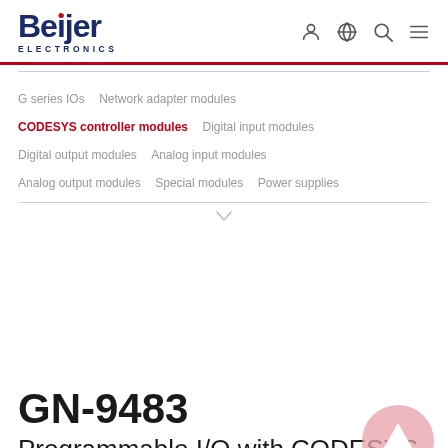[Figure (logo): Beijer Electronics logo with red dot on i]
[Figure (infographic): Navigation icons: person, globe, search, hamburger menu]
G series IOs  Network adapter modules  CODESYS controller modules  Digital input modules  Digital output modules  Analog input modules  Analog output modules  Special modules  Power supplies
GN-9483
Programmable I/O with CODESYS